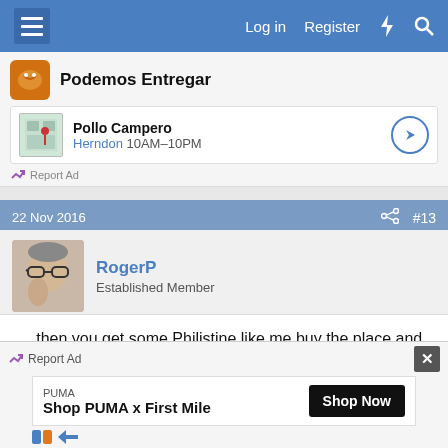Log in  Register
[Figure (screenshot): Advertisement area showing Podemos Entregar and Pollo Campero (Herndon 10AM-10PM) ads with Report Ad link]
22 Nov 2016  #13
RogerP
Established Member
.... then you get some Philistine like me buy the place and whack down wall-to-wall fitted carpeting (because it's quieter, warmer and safer) over all your hard work. 🙂 :shock:
[Figure (screenshot): Bottom advertisement bar showing PUMA - Shop PUMA x First Mile with Shop Now button and Report Ad label]